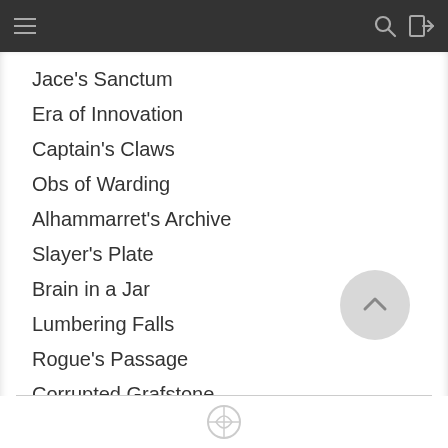Navigation bar with hamburger menu, search and login icons
Jace's Sanctum
Era of Innovation
Captain's Claws
Obs of Warding
Alhammarret's Archive
Slayer's Plate
Brain in a Jar
Lumbering Falls
Rogue's Passage
Corrupted Grafstone
Shambling Vent
Sword of the Animist
Shrine of the Forsaken Gods
Deadlock Trap